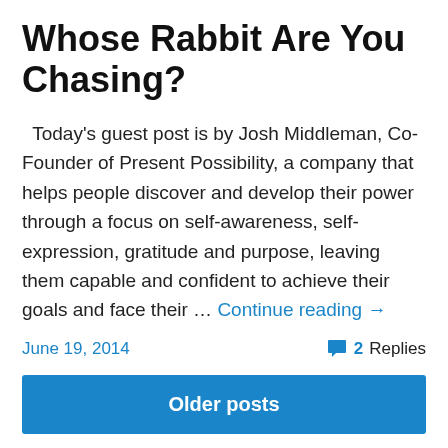Whose Rabbit Are You Chasing?
Today's guest post is by Josh Middleman, Co-Founder of Present Possibility, a company that helps people discover and develop their power through a focus on self-awareness, self-expression, gratitude and purpose, leaving them capable and confident to achieve their goals and face their … Continue reading →
June 19, 2014
2 Replies
Older posts